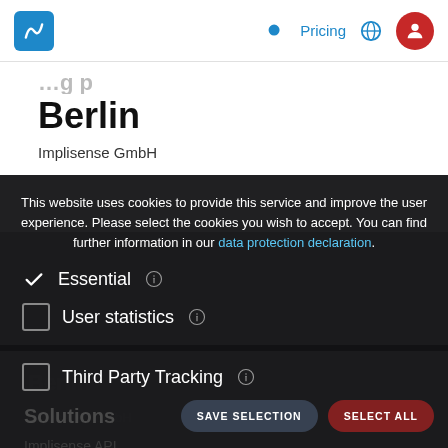Pricing
Berlin
Implisense GmbH
This website uses cookies to provide this service and improve the user experience. Please select the cookies you wish to accept. You can find further information in our data protection declaration.
Essential
User statistics
Third Party Tracking
Solutions
Implisense API
Implisense Looker
SAVE SELECTION
SELECT ALL